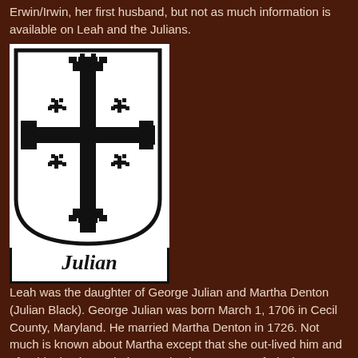Erwin/Irwin, her first husband, but not as much information is available on Leah and the Julians.
[Figure (illustration): Coat of arms shield with a large cross potent (Jerusalem cross) on white background, with the word 'Julian' in Old English/blackletter font below the shield.]
Leah was the daughter of George Julian and Martha Denton (Julian Black). George Julian was born March 1, 1706 in Cecil County, Maryland. He married Martha Denton in 1726. Not much is known about Martha except that she out-lived him and after his death married a man by the surname of Black.